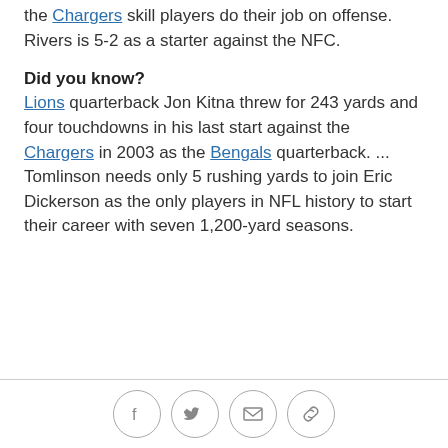the Chargers skill players do their job on offense. Rivers is 5-2 as a starter against the NFC.
Did you know?
Lions quarterback Jon Kitna threw for 243 yards and four touchdowns in his last start against the Chargers in 2003 as the Bengals quarterback. ... Tomlinson needs only 5 rushing yards to join Eric Dickerson as the only players in NFL history to start their career with seven 1,200-yard seasons.
Social share icons: Facebook, Twitter, Email, Link